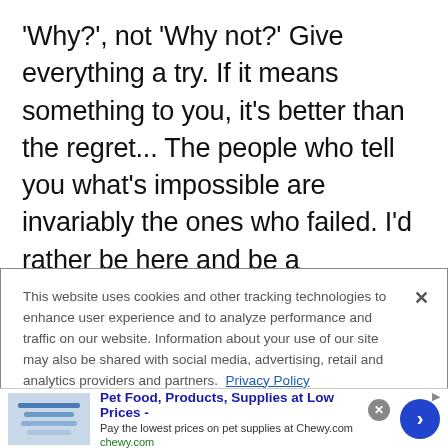'Why?', not 'Why not?' Give everything a try. If it means something to you, it's better than the regret... The people who tell you what's impossible are invariably the ones who failed. I'd rather be here and be a cheerleader for people and say, 'Yeah, you can. If you're willing to work hard and you're passionate about something, there's no reason you can't have it.'"
This website uses cookies and other tracking technologies to enhance user experience and to analyze performance and traffic on our website. Information about your use of our site may also be shared with social media, advertising, retail and analytics providers and partners. Privacy Policy
Pet Food, Products, Supplies at Low Prices - Pay the lowest prices on pet supplies at Chewy.com chewy.com